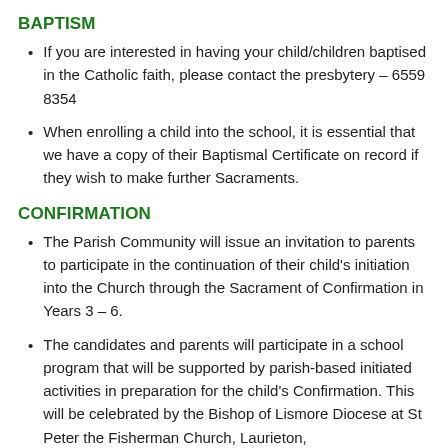BAPTISM
If you are interested in having your child/children baptised in the Catholic faith, please contact the presbytery – 6559 8354
When enrolling a child into the school, it is essential that we have a copy of their Baptismal Certificate on record if they wish to make further Sacraments.
CONFIRMATION
The Parish Community will issue an invitation to parents to participate in the continuation of their child's initiation into the Church through the Sacrament of Confirmation in Years 3 – 6.
The candidates and parents will participate in a school program that will be supported by parish-based initiated activities in preparation for the child's Confirmation. This will be celebrated by the Bishop of Lismore Diocese at St Peter the Fisherman Church, Laurieton,